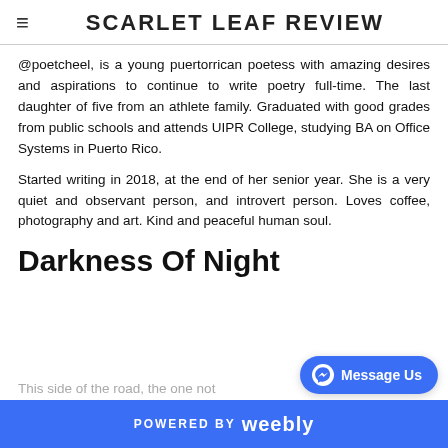SCARLET LEAF REVIEW
@poetcheel, is a young puertorrican poetess with amazing desires and aspirations to continue to write poetry full-time. The last daughter of five from an athlete family. Graduated with good grades from public schools and attends UIPR College, studying BA on Office Systems in Puerto Rico.
Started writing in 2018, at the end of her senior year. She is a very quiet and observant person, and introvert person. Loves coffee, photography and art. Kind and peaceful human soul.
Darkness Of Night
This side of the road, the one not
POWERED BY weebly